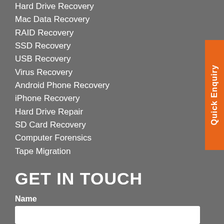Hard Drive Recovery
Mac Data Recovery
RAID Recovery
SSD Recovery
USB Recovery
Virus Recovery
Android Phone Recovery
iPhone Recovery
Hard Drive Repair
SD Card Recovery
Computer Forensics
Tape Migration
GET IN TOUCH
Name
Email
Telephone
Quick Enquiry